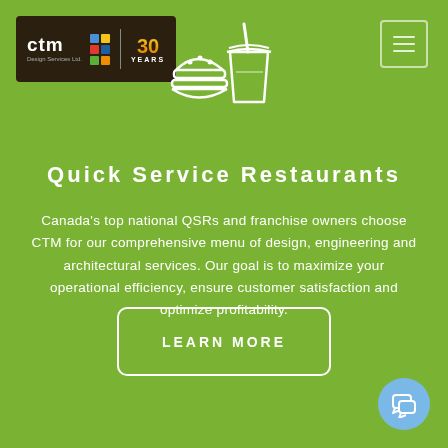[Figure (logo): CTM Design Services Ltd. logo with colorful pixel grid and 30 Years badge on dark brown background]
[Figure (illustration): White outline icon of a hamburger and drink cup on green background]
Quick Service Restaurants
Canada’s top national QSRs and franchise owners choose CTM for our comprehensive menu of design, engineering and architectural services. Our goal is to maximize your operational efficiency, ensure customer satisfaction and optimize profitability.
LEARN MORE